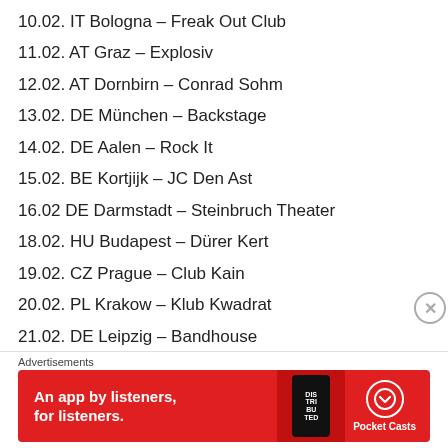10.02. IT Bologna – Freak Out Club
11.02. AT Graz – Explosiv
12.02. AT Dornbirn – Conrad Sohm
13.02. DE München – Backstage
14.02. DE Aalen – Rock It
15.02. BE Kortjijk – JC Den Ast
16.02 DE Darmstadt – Steinbruch Theater
18.02. HU Budapest – Dürer Kert
19.02. CZ Prague – Club Kain
20.02. PL Krakow – Klub Kwadrat
21.02. DE Leipzig – Bandhouse
22.02. AT Wien – Escape
23.02. DE Berlin – K 17
Advertisements
[Figure (other): Pocket Casts advertisement banner: red background with text 'An app by listeners, for listeners.' and Pocket Casts logo]